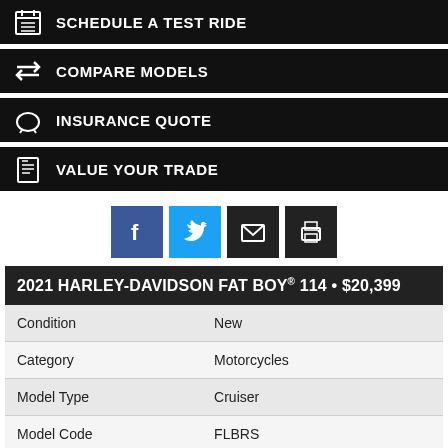SCHEDULE A TEST RIDE
COMPARE MODELS
INSURANCE QUOTE
VALUE YOUR TRADE
[Figure (other): Social sharing icons: Facebook, Twitter, Email, Print]
| 2021 HARLEY-DAVIDSON FAT BOY® 114 • $20,399 |
| --- |
| Condition | New |
| Category | Motorcycles |
| Model Type | Cruiser |
| Model Code | FLBRS |